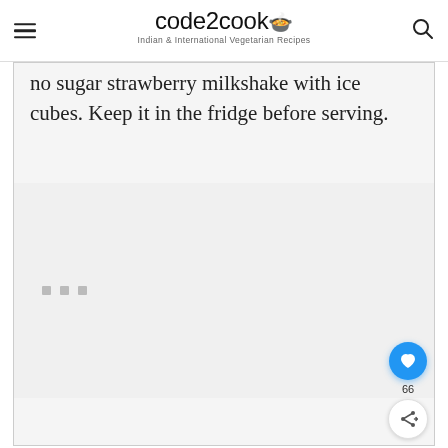code2cook — Indian & International Vegetarian Recipes
no sugar strawberry milkshake with ice cubes. Keep it in the fridge before serving.
[Figure (other): Gray placeholder image area with three small square dots]
[Figure (other): Blue circular heart/love FAB button with count 66 and share button below]